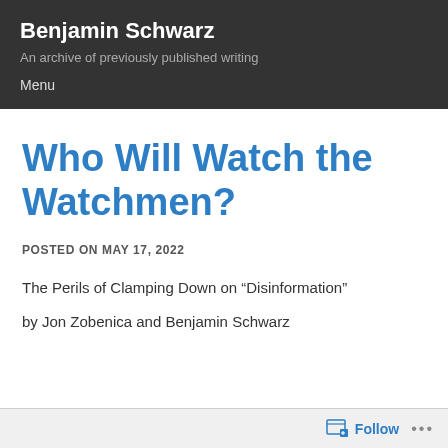Benjamin Schwarz
An archive of previously published writing
Menu
Who Will Watch the Watchmen?
POSTED ON MAY 17, 2022
The Perils of Clamping Down on “Disinformation”
by Jon Zobenica and Benjamin Schwarz
Follow